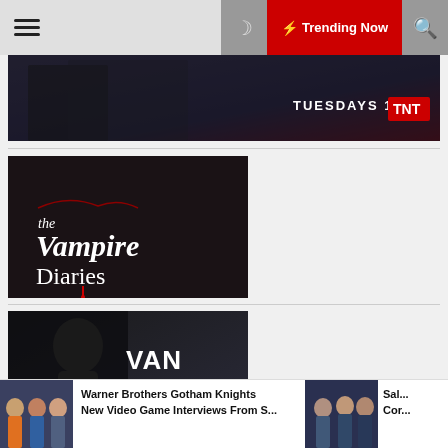☰  🌙  ⚡ Trending Now  🔍
[Figure (screenshot): Partially visible dark TV show promotional banner with text TUESDAYS 10/9C and TNT logo]
[Figure (screenshot): The Vampire Diaries TV show logo on dark background]
[Figure (screenshot): Van Helsing TV show promotional poster showing a woman holding a skull with fire and the text VAN HELSING]
Warner Brothers Gotham Knights New Video Game Interviews From S...
Sal... Cor...